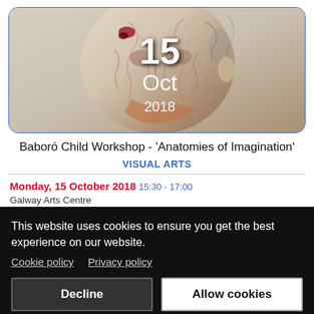[Figure (illustration): Anatomical illustration of a human head showing muscles, nerves, and anatomical structures with decorative/artistic style. Overlaid with date text '15 Oct 2018' in white.]
Baboró Child Workshop - 'Anatomies of Imagination'
VISUAL ARTS
Monday, 15 October 2018 15:30 - 17:00
Galway Arts Centre
This website uses cookies to ensure you get the best experience on our website. Cookie policy  Privacy policy
Decline
Allow cookies